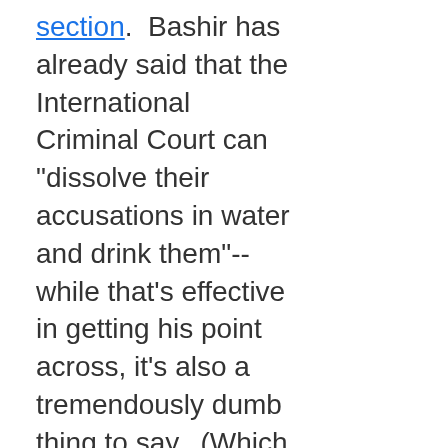section.  Bashir has already said that the International Criminal Court can "dissolve their accusations in water and drink them"-- while that's effective in getting his point across, it's also a tremendously dumb thing to say.  (Which makes me think that it probably correlates t some random old cliche I've never heard, because I'm an American and don't care about other cultures.)  All the countries who have ratified the